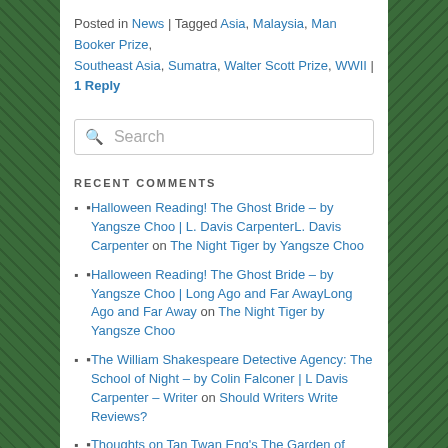Posted in News | Tagged Asia, Malaysia, Man Booker Prize, Southeast Asia, Sumatra, Walter Scott Prize, WWII | 1 Reply
Search
RECENT COMMENTS
Halloween Reading! The Ghost Bride – by Yangsze Choo | L. Davis CarpenterL. Davis Carpenter on The Night Tiger by Yangsze Choo
Halloween Reading! The Ghost Bride – by Yangsze Choo | Long Ago and Far AwayLong Ago and Far Away on The Night Tiger by Yangsze Choo
The William Shakespeare Detective Agency: The School of Night – by Colin Falconer | L Davis Carpenter – Writer on Should Writers Write Reviews?
Thoughts on Tan Twan Eng's The Garden of Evening Mists | Long Ago and Far Away on Should Writers